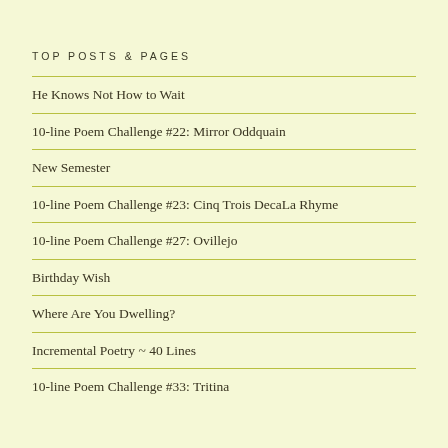TOP POSTS & PAGES
He Knows Not How to Wait
10-line Poem Challenge #22: Mirror Oddquain
New Semester
10-line Poem Challenge #23: Cinq Trois DecaLa Rhyme
10-line Poem Challenge #27: Ovillejo
Birthday Wish
Where Are You Dwelling?
Incremental Poetry ~ 40 Lines
10-line Poem Challenge #33: Tritina